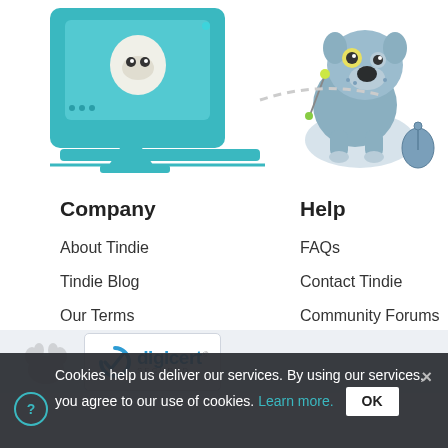[Figure (illustration): Illustration of a robot dog character on a teal monitor/computer on the left, and a blue robot dog sitting with a computer mouse on the right]
Company
About Tindie
Tindie Blog
Our Terms
Help
FAQs
Contact Tindie
Community Forums
[Figure (logo): Tindie paw print logo and DigiCert Secured badge]
Cookies help us deliver our services. By using our services, you agree to our use of cookies. Learn more.